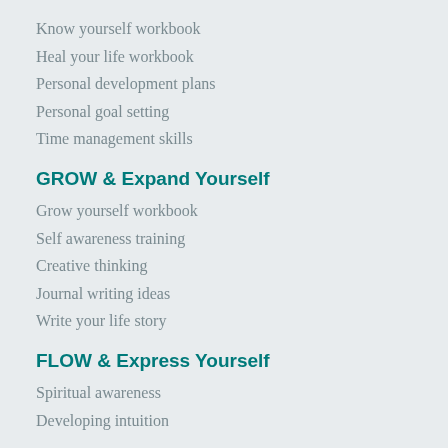Know yourself workbook
Heal your life workbook
Personal development plans
Personal goal setting
Time management skills
GROW & Expand Yourself
Grow yourself workbook
Self awareness training
Creative thinking
Journal writing ideas
Write your life story
FLOW & Express Yourself
Spiritual awareness
Developing intuition